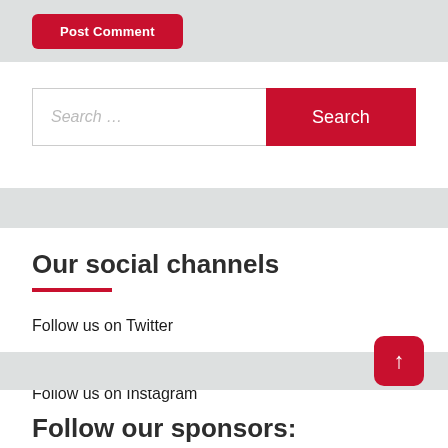Post Comment
Search ...
Search
Our social channels
Follow us on Twitter
Follow us on Facebook
Follow us on Instagram
Follow our sponsors: